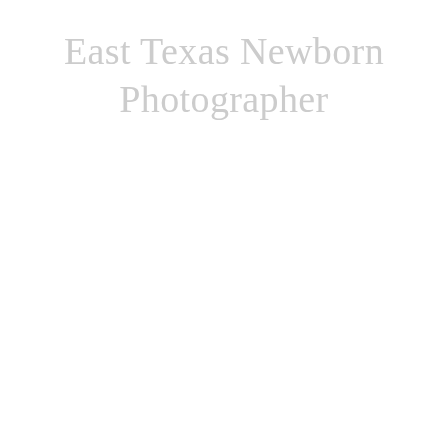East Texas Newborn Photographer